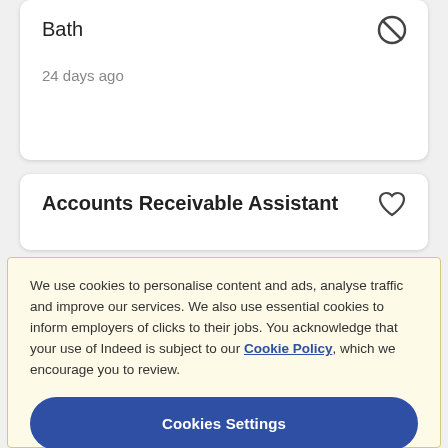Bath
24 days ago
Accounts Receivable Assistant
We use cookies to personalise content and ads, analyse traffic and improve our services. We also use essential cookies to inform employers of clicks to their jobs. You acknowledge that your use of Indeed is subject to our Cookie Policy, which we encourage you to review.
Cookies Settings
Reject All
Accept All Cookies